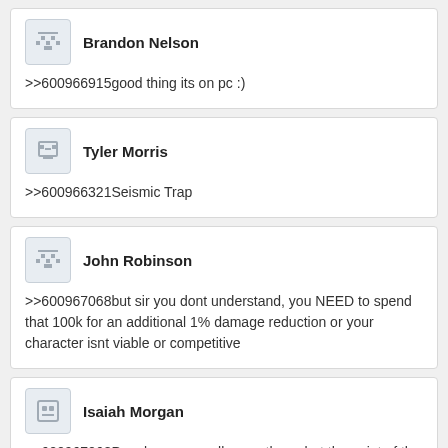Brandon Nelson
>>600966915good thing its on pc :)
Tyler Morris
>>600966321Seismic Trap
John Robinson
>>600967068but sir you dont understand, you NEED to spend that 100k for an additional 1% damage reduction or your character isnt viable or competitive
Isaiah Morgan
>>600967068People never really max them, but the point of the genre is the journey to maxing your character, seeing your build get better and better, improving bit by